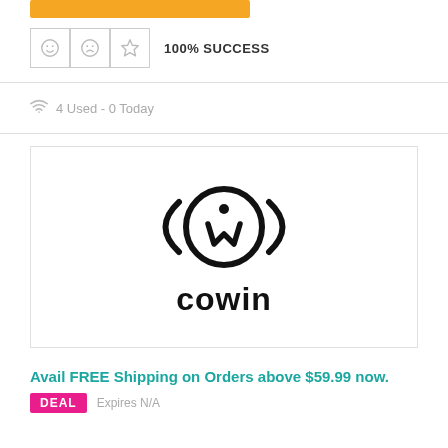[Figure (other): Orange button bar at the top]
[Figure (other): Three icon boxes (smiley, sad face, star) followed by 100% SUCCESS text]
4 Used - 0 Today
[Figure (logo): Cowin brand logo with circular antenna/person icon and 'cowin' wordmark]
Avail FREE Shipping on Orders above $59.99 now.
DEAL  Expires N/A